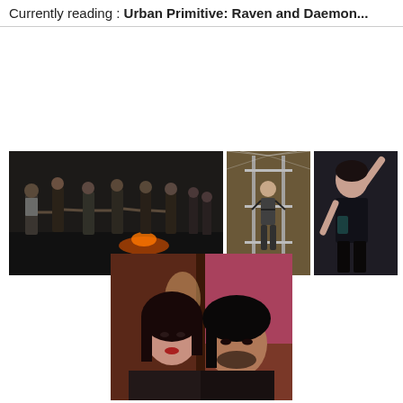Currently reading : Urban Primitive: Raven and Daemon...
[Figure (photo): Group of shirtless people holding hands in a circle around a fire at night, appearing to be a ritual or ceremony]
[Figure (photo): Person suspended or bound in a metal frame with strings or wires radiating outward]
[Figure (photo): Woman in black clothing with arm raised dancing]
[Figure (photo): Close-up portrait of two people with dark hair, a woman and a man, appearing to be at an indoor gathering]